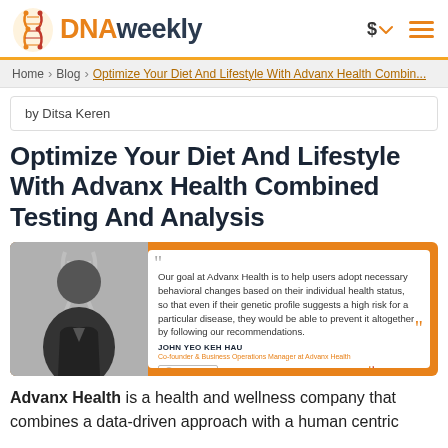DNAweekly
Home > Blog > Optimize Your Diet And Lifestyle With Advanx Health Combin...
by Ditsa Keren
Optimize Your Diet And Lifestyle With Advanx Health Combined Testing And Analysis
[Figure (photo): Quote card featuring a photo of John Yeo Keh Hau, Co-founder & Business Operations Manager at Advanx Health, with a quote: 'Our goal at Advanx Health is to help users adopt necessary behavioral changes based on their individual health status, so that even if their genetic profile suggests a high risk for a particular disease, they would be able to prevent it altogether by following our recommendations.' Logos of Advanx Health and DNAweekly appear at the bottom of the card.]
Advanx Health is a health and wellness company that combines a data-driven approach with a human centric